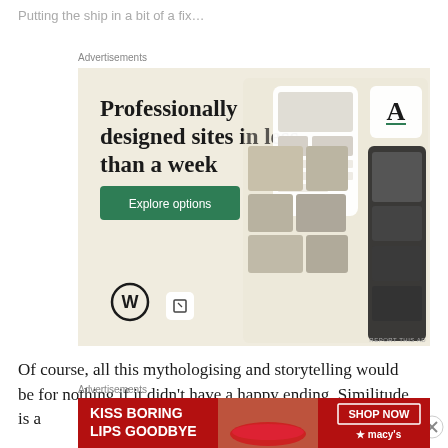Putting the ship in a bit of a fix…
Advertisements
[Figure (illustration): WordPress advertisement: 'Professionally designed sites in less than a week' with Explore options button, WordPress logo, and mockup of website/app screens on a beige background.]
Of course, all this mythologising and storytelling would be for nothing if it didn't have a happy ending. Similitude is a
Advertisements
[Figure (illustration): Macy's advertisement: 'KISS BORING LIPS GOODBYE' with image of woman's lips and 'SHOP NOW ★ macys' text on red background.]